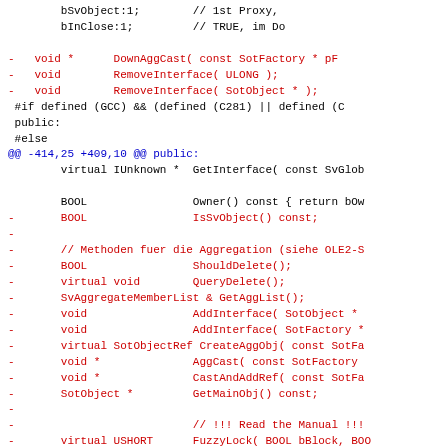Code diff showing C++ header file changes including removed methods and a hunk header for public section.